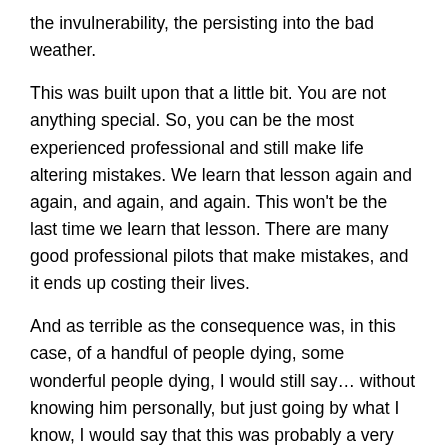the invulnerability, the persisting into the bad weather.
This was built upon that a little bit. You are not anything special. So, you can be the most experienced professional and still make life altering mistakes. We learn that lesson again and again, and again, and again. This won't be the last time we learn that lesson. There are many good professional pilots that make mistakes, and it ends up costing their lives.
And as terrible as the consequence was, in this case, of a handful of people dying, some wonderful people dying, I would still say… without knowing him personally, but just going by what I know, I would say that this was probably a very good pilot, and a very experienced pilot. I wouldn't think anything different than that. I go on that. I don't just take the stance that, "Oh, what an idiot for doing something like this?" You're not learning the lesson if you take that stance.